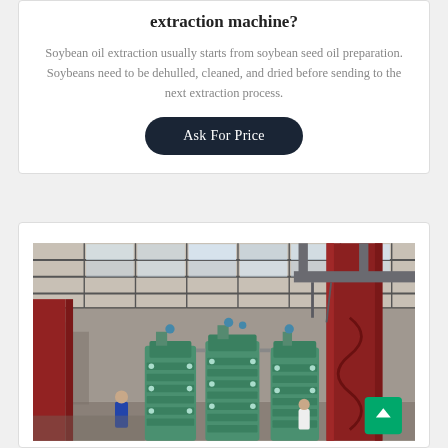extraction machine?
Soybean oil extraction usually starts from soybean seed oil preparation. Soybeans need to be dehulled, cleaned, and dried before sending to the next extraction process.
Ask For Price
[Figure (photo): Industrial factory interior showing large green oil extraction presses and red structural columns, with workers visible. The facility has a steel-framed roof with natural lighting panels.]